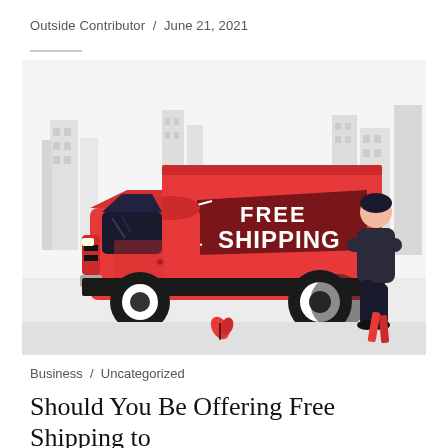Outside Contributor / June 21, 2021
[Figure (illustration): Illustration of a red delivery truck with 'FREE SHIPPING' text on its cargo box, parked in front of city buildings. A person with arms crossed stands to the right of the truck. Small red plant/leaf decoration at the bottom center.]
Business / Uncategorized
Should You Be Offering Free Shipping to